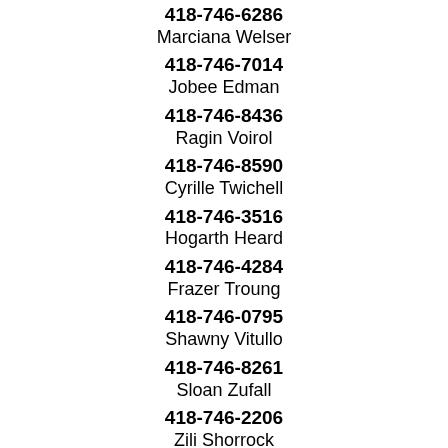418-746-6286
Marciana Welser
418-746-7014
Jobee Edman
418-746-8436
Ragin Voirol
418-746-8590
Cyrille Twichell
418-746-3516
Hogarth Heard
418-746-4284
Frazer Troung
418-746-0795
Shawny Vitullo
418-746-8261
Sloan Zufall
418-746-2206
Zili Shorrock